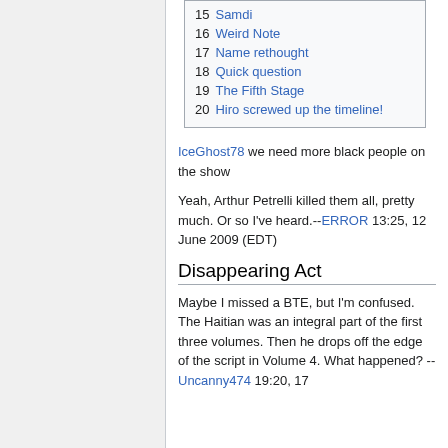15  Samdi
16  Weird Note
17  Name rethought
18  Quick question
19  The Fifth Stage
20  Hiro screwed up the timeline!
IceGhost78 we need more black people on the show
Yeah, Arthur Petrelli killed them all, pretty much. Or so I've heard.--ERROR 13:25, 12 June 2009 (EDT)
Disappearing Act
Maybe I missed a BTE, but I'm confused. The Haitian was an integral part of the first three volumes. Then he drops off the edge of the script in Volume 4. What happened? --Uncanny474 19:20, 17